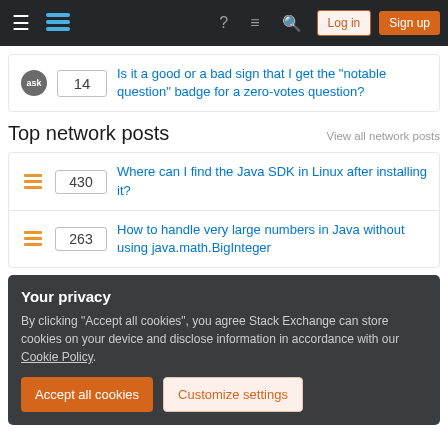Stack Exchange navigation bar with Log in and Sign up buttons
Is it a good or a bad sign that I get the "notable question" badge for a zero-votes question? [score: 14]
Top network posts
View all network posts
430 – Where can I find the Java SDK in Linux after installing it?
263 – How to handle very large numbers in Java without using java.math.BigInteger
Your privacy
By clicking "Accept all cookies", you agree Stack Exchange can store cookies on your device and disclose information in accordance with our Cookie Policy.
Accept all cookies
Customize settings